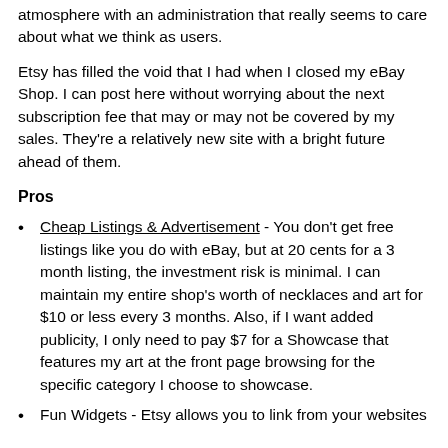atmosphere with an administration that really seems to care about what we think as users.
Etsy has filled the void that I had when I closed my eBay Shop. I can post here without worrying about the next subscription fee that may or may not be covered by my sales. They're a relatively new site with a bright future ahead of them.
Pros
Cheap Listings & Advertisement - You don't get free listings like you do with eBay, but at 20 cents for a 3 month listing, the investment risk is minimal. I can maintain my entire shop's worth of necklaces and art for $10 or less every 3 months. Also, if I want added publicity, I only need to pay $7 for a Showcase that features my art at the front page browsing for the specific category I choose to showcase.
Fun Widgets - Etsy allows you to link from your websites